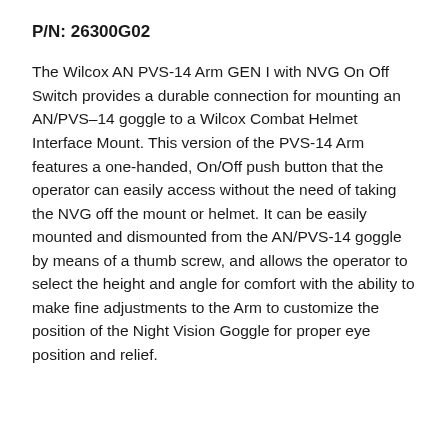P/N: 26300G02
The Wilcox AN PVS-14 Arm GEN I with NVG On Off Switch provides a durable connection for mounting an AN/PVS–14 goggle to a Wilcox Combat Helmet Interface Mount. This version of the PVS-14 Arm features a one-handed, On/Off push button that the operator can easily access without the need of taking the NVG off the mount or helmet. It can be easily mounted and dismounted from the AN/PVS-14 goggle by means of a thumb screw, and allows the operator to select the height and angle for comfort with the ability to make fine adjustments to the Arm to customize the position of the Night Vision Goggle for proper eye position and relief.